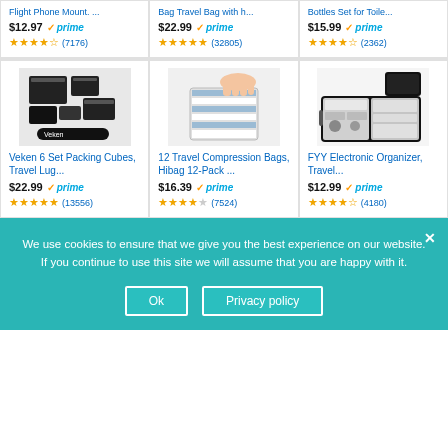Flight Phone Mount. ... $12.97 prime (7176)
Bag Travel Bag with h... $22.99 prime (32805)
Bottles Set for Toile... $15.99 prime (2362)
[Figure (photo): Black packing cubes set with travel bag - Veken brand]
Veken 6 Set Packing Cubes, Travel Lug... $22.99 prime (13556)
[Figure (photo): Hands compressing striped travel compression bag]
12 Travel Compression Bags, Hibag 12-Pack ... $16.39 prime (7524)
[Figure (photo): FYY Electronic organizer open showing compartments]
FYY Electronic Organizer, Travel... $12.99 prime (4180)
We use cookies to ensure that we give you the best experience on our website. If you continue to use this site we will assume that you are happy with it.
Ok
Privacy policy